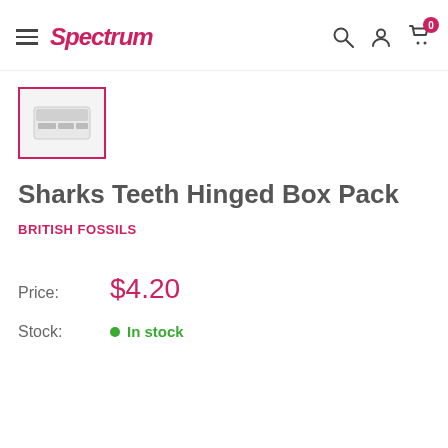Spectrum — navigation header with hamburger menu, logo, search, account, and cart icons
[Figure (photo): Small thumbnail image of the Sharks Teeth Hinged Box Pack product, a white rectangular box]
Sharks Teeth Hinged Box Pack
BRITISH FOSSILS
Price: $4.20
Stock: In stock